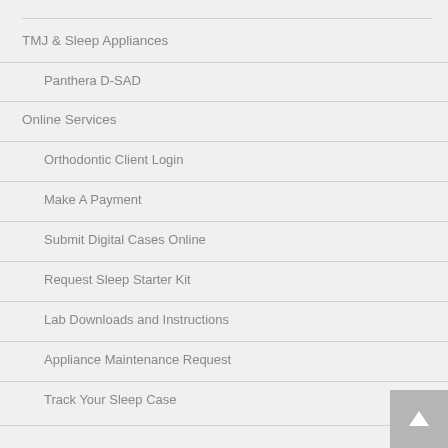TMJ & Sleep Appliances
Panthera D-SAD
Online Services
Orthodontic Client Login
Make A Payment
Submit Digital Cases Online
Request Sleep Starter Kit
Lab Downloads and Instructions
Appliance Maintenance Request
Track Your Sleep Case